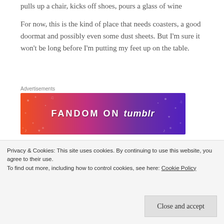pulls up a chair, kicks off shoes, pours a glass of wine
For now, this is the kind of place that needs coasters, a good doormat and possibly even some dust sheets. But I'm sure it won't be long before I'm putting my feet up on the table.
[Figure (other): Fandom on Tumblr advertisement banner with gradient background from orange to purple]
I should explain myself. I do the occasional piece of
Privacy & Cookies: This site uses cookies. By continuing to use this website, you agree to their use. To find out more, including how to control cookies, see here: Cookie Policy
Close and accept